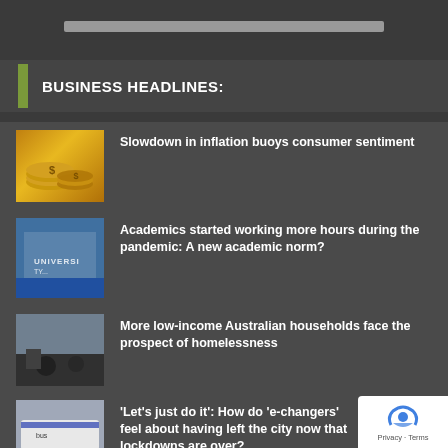BUSINESS HEADLINES:
Slowdown in inflation buoys consumer sentiment
Academics started working more hours during the pandemic: A new academic norm?
More low-income Australian households face the prospect of homelessness
'Let's just do it': How do 'e-changers' feel about having left the city now that lockdowns are over?